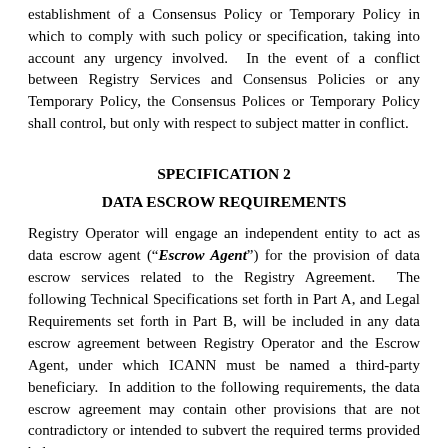establishment of a Consensus Policy or Temporary Policy in which to comply with such policy or specification, taking into account any urgency involved.  In the event of a conflict between Registry Services and Consensus Policies or any Temporary Policy, the Consensus Polices or Temporary Policy shall control, but only with respect to subject matter in conflict.
SPECIFICATION 2
DATA ESCROW REQUIREMENTS
Registry Operator will engage an independent entity to act as data escrow agent (“Escrow Agent”) for the provision of data escrow services related to the Registry Agreement.  The following Technical Specifications set forth in Part A, and Legal Requirements set forth in Part B, will be included in any data escrow agreement between Registry Operator and the Escrow Agent, under which ICANN must be named a third-party beneficiary.  In addition to the following requirements, the data escrow agreement may contain other provisions that are not contradictory or intended to subvert the required terms provided below.